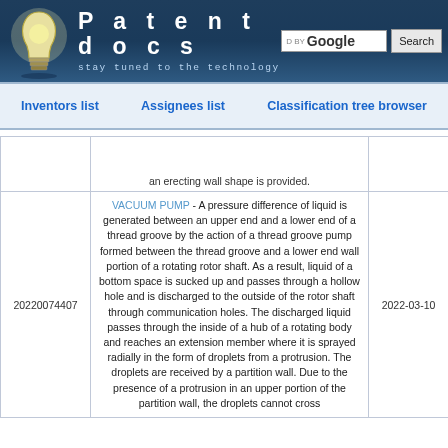Patentdocs - stay tuned to the technology
Inventors list | Assignees list | Classification tree browser
|  | Description | Date |
| --- | --- | --- |
|  | an erecting wall shape is provided. |  |
| 20220074407 | VACUUM PUMP - A pressure difference of liquid is generated between an upper end and a lower end of a thread groove by the action of a thread groove pump formed between the thread groove and a lower end wall portion of a rotating rotor shaft. As a result, liquid of a bottom space is sucked up and passes through a hollow hole and is discharged to the outside of the rotor shaft through communication holes. The discharged liquid passes through the inside of a hub of a rotating body and reaches an extension member where it is sprayed radially in the form of droplets from a protrusion. The droplets are received by a partition wall. Due to the presence of a protrusion in an upper portion of the partition wall, the droplets cannot cross | 2022-03-10 |